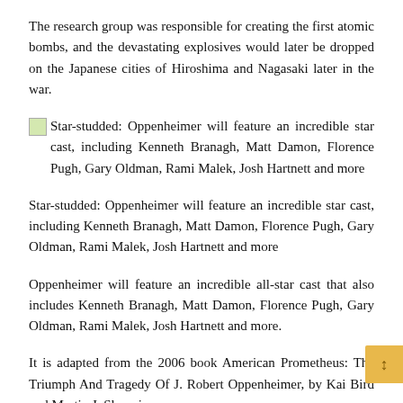The research group was responsible for creating the first atomic bombs, and the devastating explosives would later be dropped on the Japanese cities of Hiroshima and Nagasaki later in the war.
Star-studded: Oppenheimer will feature an incredible star cast, including Kenneth Branagh, Matt Damon, Florence Pugh, Gary Oldman, Rami Malek, Josh Hartnett and more
Star-studded: Oppenheimer will feature an incredible star cast, including Kenneth Branagh, Matt Damon, Florence Pugh, Gary Oldman, Rami Malek, Josh Hartnett and more
Oppenheimer will feature an incredible all-star cast that also includes Kenneth Branagh, Matt Damon, Florence Pugh, Gary Oldman, Rami Malek, Josh Hartnett and more.
It is adapted from the 2006 book American Prometheus: The Triumph And Tragedy Of J. Robert Oppenheimer, by Kai Bird and Martin J. Sherwin.
The book which won the Pulitzer Prize details Oppenheimer's development